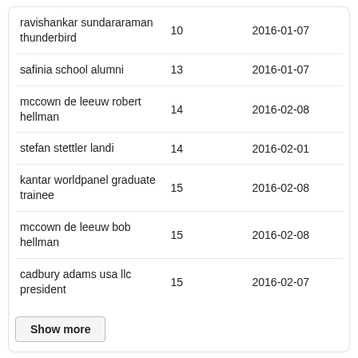|  |  |  |
| --- | --- | --- |
| ravishankar sundararaman thunderbird | 10 | 2016-01-07 |
| safinia school alumni | 13 | 2016-01-07 |
| mccown de leeuw robert hellman | 14 | 2016-02-08 |
| stefan stettler landi | 14 | 2016-02-01 |
| kantar worldpanel graduate trainee | 15 | 2016-02-08 |
| mccown de leeuw bob hellman | 15 | 2016-02-08 |
| cadbury adams usa llc president | 15 | 2016-02-07 |
Show more
Give.thunderbird.edu Backlinks History
At the latest date, 2016-02-24, we found 41 backlinks. The highest number is...